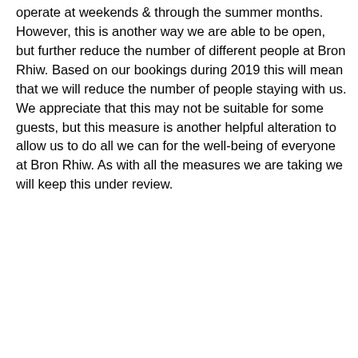operate at weekends & through the summer months. However, this is another way we are able to be open, but further reduce the number of different people at Bron Rhiw. Based on our bookings during 2019 this will mean that we will reduce the number of people staying with us. We appreciate that this may not be suitable for some guests, but this measure is another helpful alteration to allow us to do all we can for the well-being of everyone at Bron Rhiw. As with all the measures we are taking we will keep this under review.